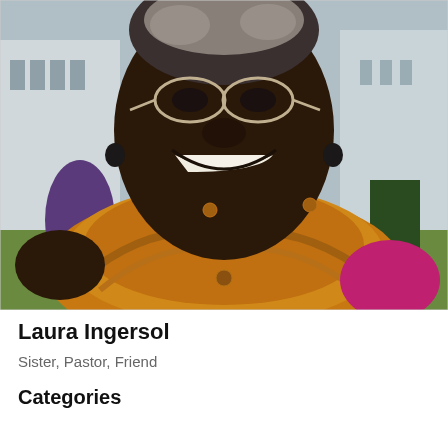[Figure (photo): Close-up portrait photo of Laura Ingersol, a woman wearing glasses and an orange/golden wrap/scarf, smiling broadly. Background shows a house and outdoor setting.]
Laura Ingersol
Sister, Pastor, Friend
Categories